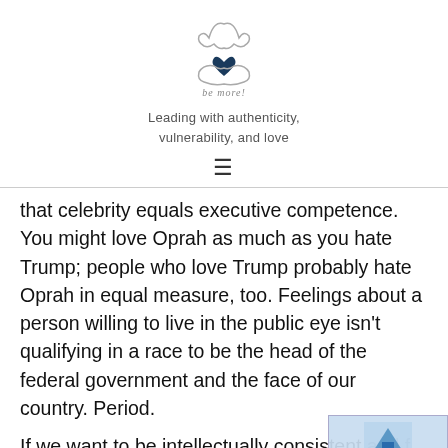[Figure (logo): be more! logo with two hands forming a heart shape and a dark blue heart icon, with cursive text 'be more!' below]
Leading with authenticity, vulnerability, and love
≡
that celebrity equals executive competence. You might love Oprah as much as you hate Trump; people who love Trump probably hate Oprah in equal measure, too. Feelings about a person willing to live in the public eye isn't qualifying in a race to be the head of the federal government and the face of our country. Period.
If we want to be intellectually consistent and f must stop talking about Oprah (or Dwayne 'The